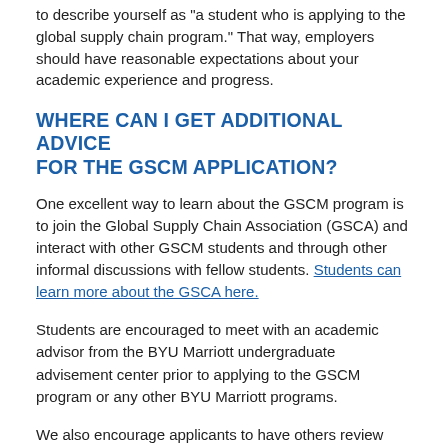to describe yourself as "a student who is applying to the global supply chain program." That way, employers should have reasonable expectations about your academic experience and progress.
WHERE CAN I GET ADDITIONAL ADVICE FOR THE GSCM APPLICATION?
One excellent way to learn about the GSCM program is to join the Global Supply Chain Association (GSCA) and interact with other GSCM students and through other informal discussions with fellow students. Students can learn more about the GSCA here.
Students are encouraged to meet with an academic advisor from the BYU Marriott undergraduate advisement center prior to applying to the GSCM program or any other BYU Marriott programs.
We also encourage applicants to have others review application materials before applying; the advisement office and students currently in the program are helpful sources of feedback. Keep in mind that current or former students are not involved in actual admissions decisions.